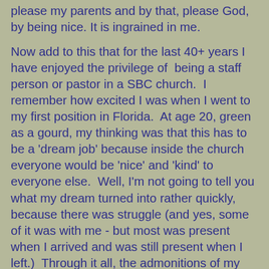please my parents and by that, please God, by being nice. It is ingrained in me.
Now add to this that for the last 40+ years I have enjoyed the privilege of being a staff person or pastor in a SBC church. I remember how excited I was when I went to my first position in Florida. At age 20, green as a gourd, my thinking was that this has to be a 'dream job' because inside the church everyone would be 'nice' and 'kind' to everyone else. Well, I'm not going to tell you what my dream turned into rather quickly, because there was struggle (and yes, some of it was with me - but most was present when I arrived and was still present when I left.) Through it all, the admonitions of my parents to 'be nice' controlled my thoughts and desires. Whether I conveyed that or not, be assured, that was my desire.
After all these years, it occurs to me that being nice is more a southern tradition than it is a biblical principle. Yes, we should 'be kind to one another' and 'love one another' because these are indeed principles mandates by scripture, but sometimes 'being kind' and 'loving' is not synonymous with being nice. In fact, sometimes being nice is anything